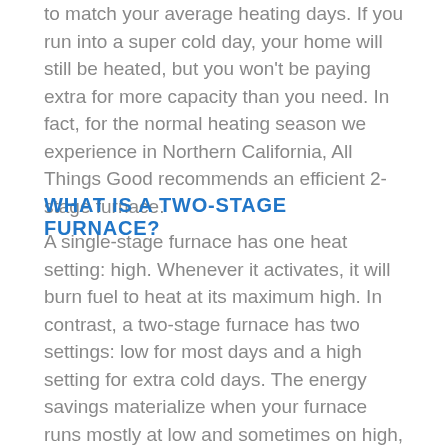to match your average heating days. If you run into a super cold day, your home will still be heated, but you won't be paying extra for more capacity than you need. In fact, for the normal heating season we experience in Northern California, All Things Good recommends an efficient 2-stage furnace.
WHAT IS A TWO-STAGE FURNACE?
A single-stage furnace has one heat setting: high. Whenever it activates, it will burn fuel to heat at its maximum high. In contrast, a two-stage furnace has two settings: low for most days and a high setting for extra cold days. The energy savings materialize when your furnace runs mostly at low and sometimes on high, rather than running on high every day. Two-stage furnaces can be more expensive, but when